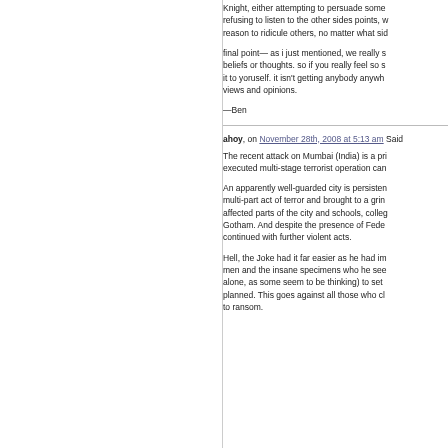Knight, either attempting to persuade some refusing to listen to the other sides points, w reason to ridicule others, no matter what sid
final point— as i just mentioned, we really s beliefs or thoughts. so if you really feel so s it to yoruself. it isn't getting anybody anywh views and opinions.
—Ben
ahoy, on November 28th, 2008 at 5:13 am Said
The recent attack on Mumbai (India) is a pri executed multi-stage terrorist operation can
An apparently well-guarded city is persisten multi-part act of terror and brought to a grin affected parts of the city and schools, colleg Gotham. And despite the presence of Fede continued with further violent acts.
Hell, the Joke had it far easier as he had im men and the insane specimens who he see alone, as some seem to be thinking) to set planned. This goes against all those who cl to ransom.